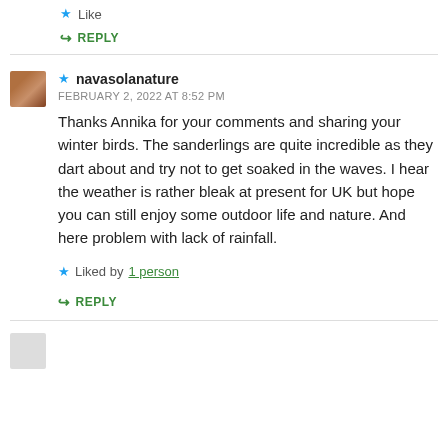Like
↳ REPLY
★ navasolanature
FEBRUARY 2, 2022 AT 8:52 PM
Thanks Annika for your comments and sharing your winter birds. The sanderlings are quite incredible as they dart about and try not to get soaked in the waves. I hear the weather is rather bleak at present for UK but hope you can still enjoy some outdoor life and nature. And here problem with lack of rainfall.
Liked by 1 person
↳ REPLY